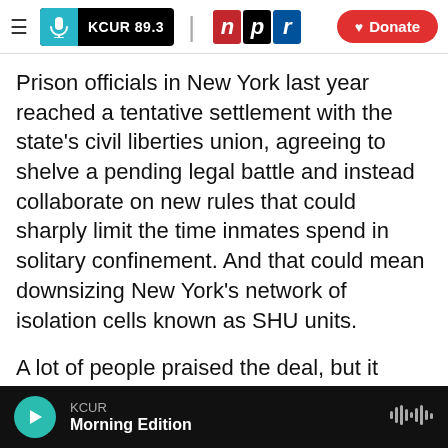KCUR 89.3 | npr | Donate
Prison officials in New York last year reached a tentative settlement with the state's civil liberties union, agreeing to shelve a pending legal battle and instead collaborate on new rules that could sharply limit the time inmates spend in solitary confinement. And that could mean downsizing New York's network of isolation cells known as SHU units.
A lot of people praised the deal, but it angered Mike Powers.
"Our SHUs are not the dungeons that people
KCUR  Morning Edition